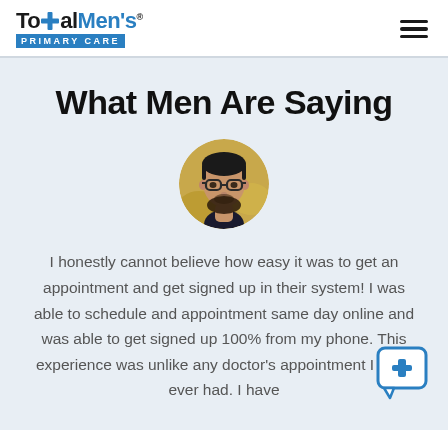Total Men's Primary Care
What Men Are Saying
[Figure (photo): Circular profile photo of a young man with glasses and a beard, wearing a dark shirt, with a blurred yellow-green background.]
I honestly cannot believe how easy it was to get an appointment and get signed up in their system! I was able to schedule and appointment same day online and was able to get signed up 100% from my phone. This experience was unlike any doctor's appointment I have ever had. I have